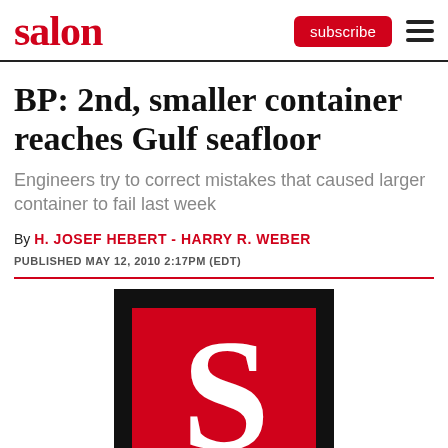salon | subscribe
BP: 2nd, smaller container reaches Gulf seafloor
Engineers try to correct mistakes that caused larger container to fail last week
By H. JOSEF HEBERT - HARRY R. WEBER
PUBLISHED MAY 12, 2010 2:17PM (EDT)
[Figure (logo): Salon magazine logo: large white S letter on red background with black border frame]